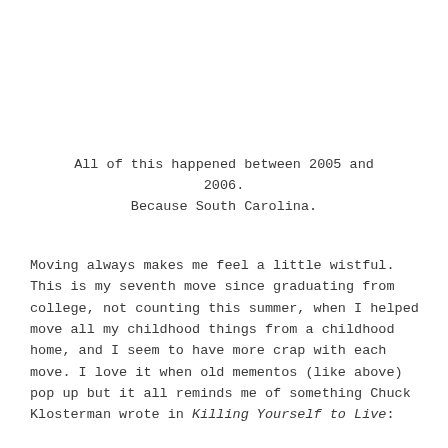All of this happened between 2005 and 2006. Because South Carolina.
Moving always makes me feel a little wistful. This is my seventh move since graduating from college, not counting this summer, when I helped move all my childhood things from a childhood home, and I seem to have more crap with each move. I love it when old mementos (like above) pop up but it all reminds me of something Chuck Klosterman wrote in Killing Yourself to Live: